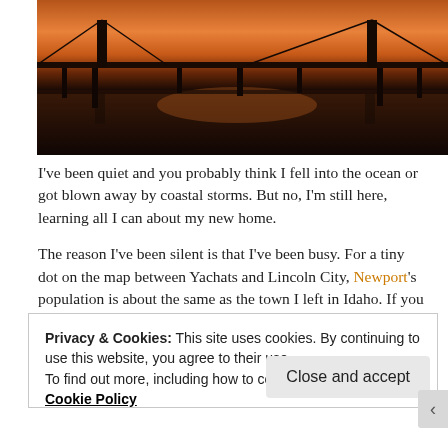[Figure (photo): Silhouette of a bridge reflected in water at sunset/dusk with orange and red sky]
I've been quiet and you probably think I fell into the ocean or got blown away by coastal storms. But no, I'm still here, learning all I can about my new home.
The reason I've been silent is that I've been busy. For a tiny dot on the map between Yachats and Lincoln City, Newport's population is about the same as the town I left in Idaho. If you want a Costco or a Lowe's you have to drive several miles, just like I did in Idaho. But unlike the town I left behind, there is so much more to do here I barely have time
Privacy & Cookies: This site uses cookies. By continuing to use this website, you agree to their use.
To find out more, including how to control cookies, see here: Cookie Policy
Close and accept